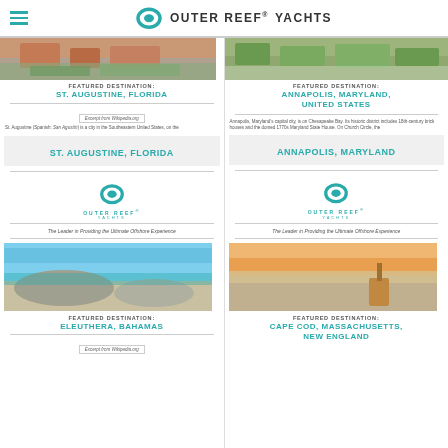OUTER REEF® YACHTS
[Figure (photo): Aerial view of St. Augustine, Florida]
FEATURED DESTINATION:
ST. AUGUSTINE, FLORIDA
Excerpt from Wikipedia.org
St. Augustine (Spanish: San Agustín) is a city in the Southeastern United States, on the
ST. AUGUSTINE, FLORIDA
[Figure (photo): Aerial view of Annapolis, Maryland]
FEATURED DESTINATION:
ANNAPOLIS, MARYLAND, UNITED STATES
Annapolis, Maryland's capital city, is on Chesapeake Bay. Its historic district includes 18th-century brick houses and the domed 1770s Maryland State House. On Church Circle, the
ANNAPOLIS, MARYLAND
[Figure (logo): Outer Reef Yachts logo left]
The Leader in Providing the Ultimate Offshore Experience
[Figure (logo): Outer Reef Yachts logo right]
The Leader in Providing the Ultimate Offshore Experience
[Figure (photo): Eleuthera Bahamas rocky coastline with turquoise water]
FEATURED DESTINATION:
ELEUTHERA, BAHAMAS
Excerpt from Wikipedia.org
[Figure (photo): Cape Cod Massachusetts lighthouse at sunset]
FEATURED DESTINATION:
CAPE COD, MASSACHUSETTS, NEW ENGLAND